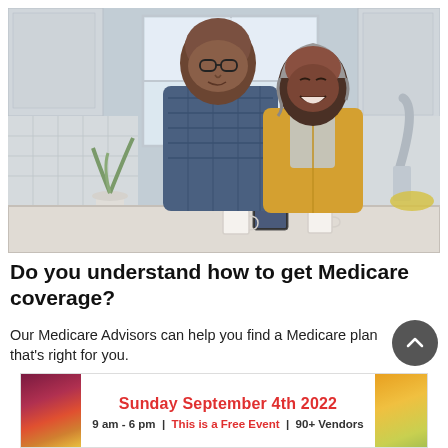[Figure (photo): Elderly Black couple smiling and laughing together in a modern kitchen. The man is taller, bald with glasses, wearing a blue plaid shirt. The woman is shorter with grey hair, wearing a yellow cardigan and light scarf. They are standing at a white kitchen counter with coffee mugs. Bright window behind them, white cabinets, modern faucet on the right.]
Do you understand how to get Medicare coverage?
Our Medicare Advisors can help you find a Medicare plan that's right for you.
[Figure (infographic): Banner advertisement showing Sunday September 4th 2022, 9 am - 6 pm, This is a Free Event, 90+ Vendors. Red and white text on white background with colorful food images on both sides.]